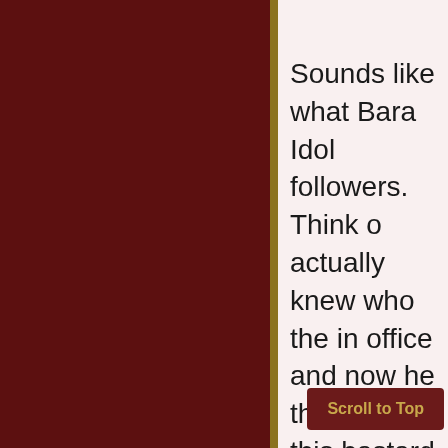Sounds like what Bara Idol followers. Think o actually knew who the in office and now he th dirt on this bastard. Illi now, thanks to Blagoje commercials for years just brought home fro
But before I digress to voted for live-birth abo 25 years busting your of work, only to have s overnight (and I know PISSED OFF? It's like spen e boss" FUCK THAT W